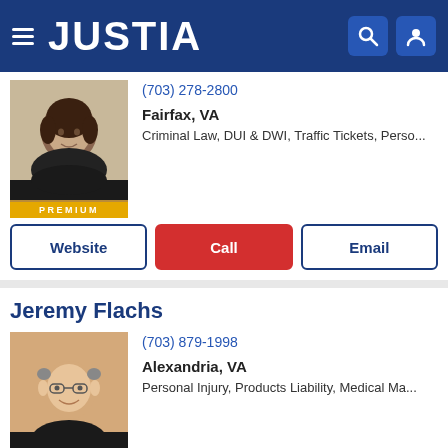JUSTIA
(703) 278-2800
Fairfax, VA
Criminal Law, DUI & DWI, Traffic Tickets, Perso...
Website | Call | Email
Jeremy Flachs
(703) 879-1998
Alexandria, VA
Personal Injury, Products Liability, Medical Ma...
Website | Call | Email
Gerald A. Schwartz